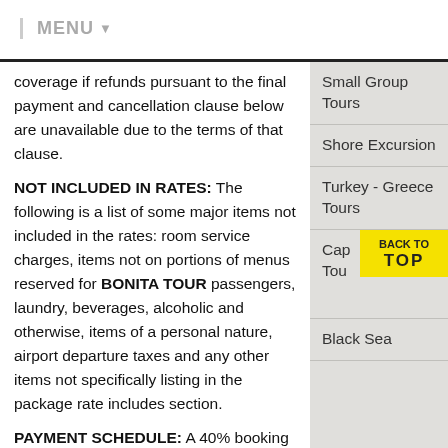MENU
coverage if refunds pursuant to the final payment and cancellation clause below are unavailable due to the terms of that clause.
NOT INCLUDED IN RATES: The following is a list of some major items not included in the rates: room service charges, items not on portions of menus reserved for BONITA TOUR passengers, laundry, beverages, alcoholic and otherwise, items of a personal nature, airport departure taxes and any other items not specifically listing in the package rate includes section.
PAYMENT SCHEDULE: A 40% booking deposit is required on confirmation to keep all
Small Group Tours
Shore Excursion
Turkey - Greece Tours
Cap Tours
Black Sea